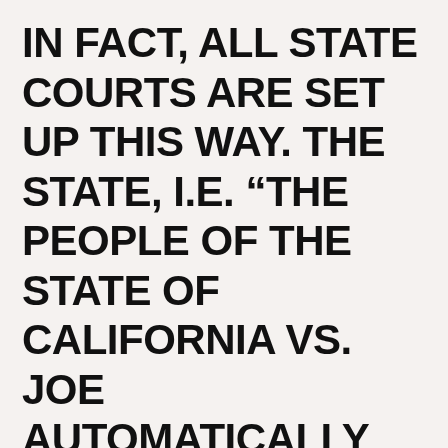IN FACT, ALL STATE COURTS ARE SET UP THIS WAY. THE STATE, I.E. “THE PEOPLE OF THE STATE OF CALIFORNIA VS. JOE AUTOMATICALLY GUILTY”: THE STATE PAYS THE JUDGE’S SALARY AND THE DISTRICT ATTORNEY’S SALARY AND THE PUBLIC DEFENDER’S SALARY. NO